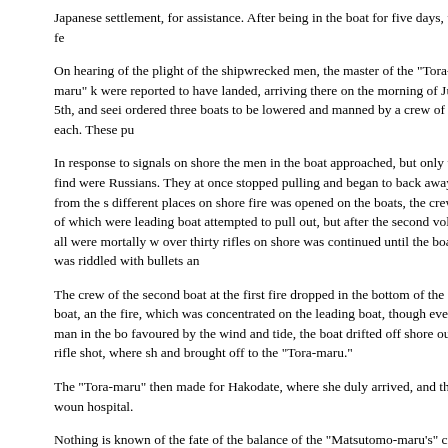Japanese settlement, for assistance. After being in the boat for five days, they fe...
On hearing of the plight of the shipwrecked men, the master of the "Tora-maru" k... were reported to have landed, arriving there on the morning of July 5th, and seei... ordered three boats to be lowered and manned by a crew of four each. These pu...
In response to signals on shore the men in the boat approached, but only to find ... were Russians. They at once stopped pulling and began to back away from the s... different places on shore fire was opened on the boats, the crews of which were... leading boat attempted to pull out, but after the second volley all were mortally w... over thirty rifles on shore was continued until the boat was riddled with bullets an...
The crew of the second boat at the first fire dropped in the bottom of the boat, an... the fire, which was concentrated on the leading boat, though every man in the bo... favoured by the wind and tide, the boat drifted off shore out of rifle shot, where sh... and brought off to the "Tora-maru."
The "Tora-maru" then made for Hakodate, where she duly arrived, and the woun... hospital.
Nothing is known of the fate of the balance of the "Matsutomo-maru's" crew, but i... murdered by the Russians, as one of the wounded men who belonged to the "Ma... second boat, declares that the men they first saw on the beach were wearing thea... been left there.
The story is an extraordinary one, and would seem to require considerable corrobo...